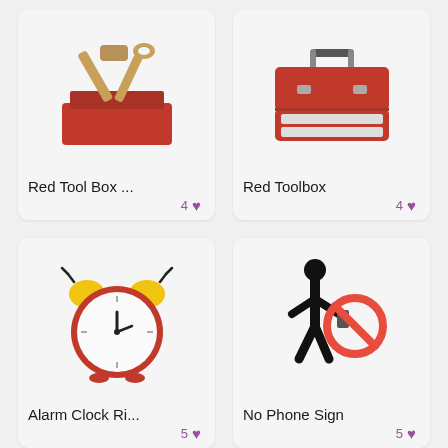[Figure (illustration): Red toolbox with hammer and wrench tools sticking out]
Red Tool Box ...
4 ♥
[Figure (illustration): Red metal toolbox with handle and drawers]
Red Toolbox
4 ♥
[Figure (illustration): Red alarm clock ringing with yellow bells]
Alarm Clock Ri...
5 ♥
[Figure (illustration): No phone sign: stick figure walking with red prohibition symbol over phone]
No Phone Sign
5 ♥